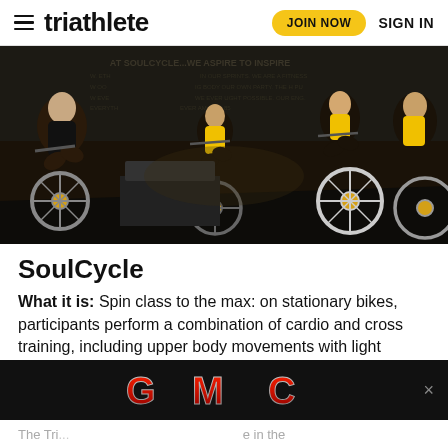≡ triathlete   JOIN NOW   SIGN IN
[Figure (photo): Indoor cycling class at SoulCycle with many participants on stationary bikes in a dark studio. Text on the wall reads 'AT SOULCYCLE...WE ASPIRE TO INSPIRE'. Participants wear athletic clothing in yellow and black.]
SoulCycle
What it is: Spin class to the max: on stationary bikes, participants perform a combination of cardio and cross training, including upper body movements with light weights.
[Figure (logo): GMC logo advertisement banner on black background]
The Tri...                                                    e in the